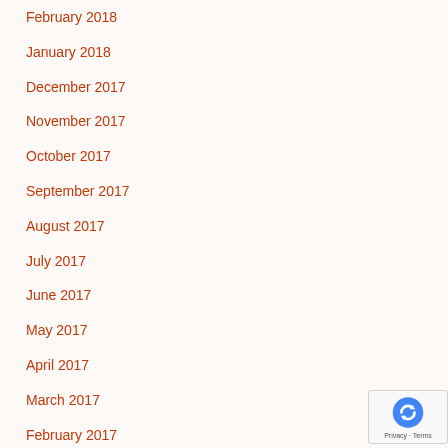February 2018
January 2018
December 2017
November 2017
October 2017
September 2017
August 2017
July 2017
June 2017
May 2017
April 2017
March 2017
February 2017
January 2017
December 2016